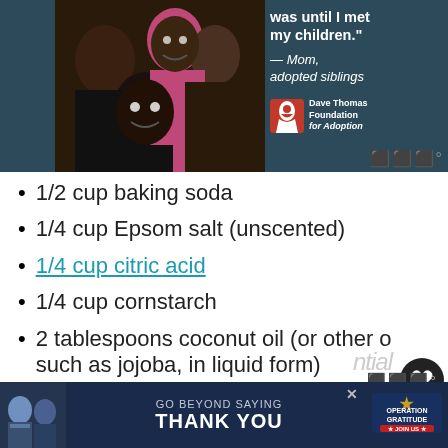[Figure (photo): Advertisement: Dave Thomas Foundation for Adoption — photo of a smiling family (mother with adopted siblings), dark teal background with quote 'was until I met my children.' — Mom, adopted siblings]
1/2 cup baking soda
1/4 cup Epsom salt (unscented)
1/4 cup citric acid
1/4 cup cornstarch
2 tablespoons coconut oil (or other oil such as jojoba, in liquid form)
1 tablespoon water
[Figure (photo): Advertisement: Operation Gratitude — 'Go Beyond Saying Thank You' with Join Us button]